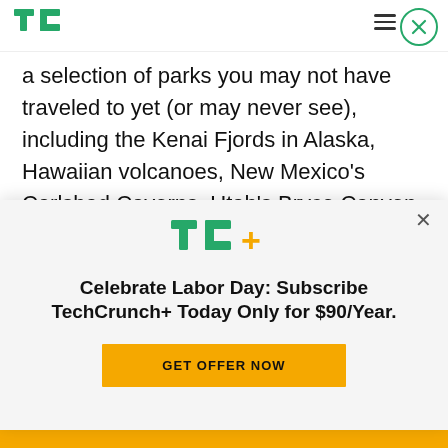TechCrunch
a selection of parks you may not have traveled to yet (or may never see), including the Kenai Fjords in Alaska, Hawaiian volcanoes, New Mexico's Carlsbad Caverns, Utah's Bryce Canyon, and Florida's Dry Tortugas – the latter which was reviewed this month in a New York Times travel piece which called it an "under the radar" national park
[Figure (other): TechCrunch+ subscription promotional overlay modal with TC+ logo, headline 'Celebrate Labor Day: Subscribe TechCrunch+ Today Only for $90/Year.' and a yellow 'GET OFFER NOW' button]